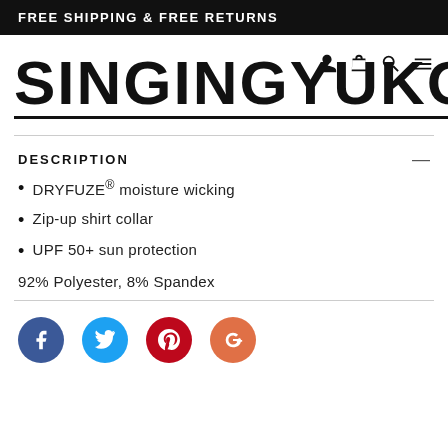FREE SHIPPING & FREE RETURNS
SINGINGYUKO
DESCRIPTION
DRYFUZE® moisture wicking
Zip-up shirt collar
UPF 50+ sun protection
92% Polyester, 8% Spandex
[Figure (infographic): Social media share buttons: Facebook (blue circle), Twitter (light blue circle), Pinterest (dark red circle), Google+ (orange-red circle)]